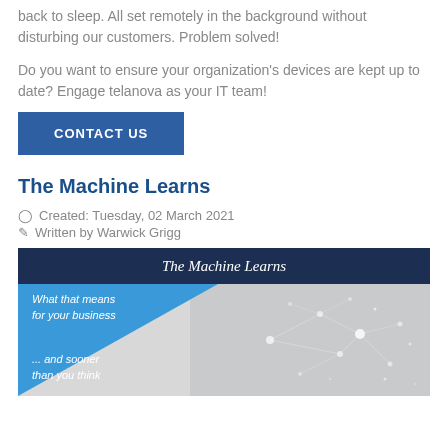back to sleep. All set remotely in the background without disturbing our customers. Problem solved!
Do you want to ensure your organization's devices are kept up to date? Engage telanova as your IT team!
CONTACT US
The Machine Learns
Created: Tuesday, 02 March 2021
Written by Warwick Grigg
[Figure (illustration): Book or article cover image titled 'The Machine Learns' with dark navy header, blue triangle on left side with italic text 'What that means for your business' and '... and sooner than you think', and a grey background with neural network sparkle graphic on the right.]